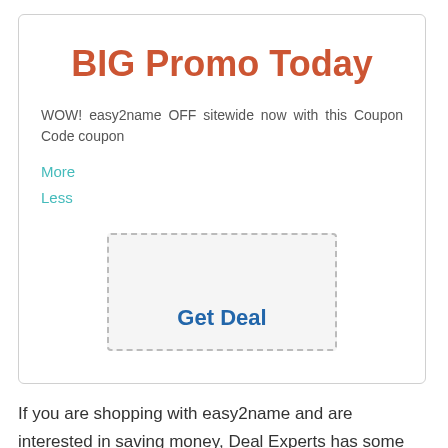BIG Promo Today
WOW! easy2name OFF sitewide now with this Coupon Code coupon
More
Less
[Figure (other): Dashed-border coupon box with 'Get Deal' button text]
If you are shopping with easy2name and are interested in saving money, Deal Experts has some very great deals and discounts for you. All the best deals which will make your